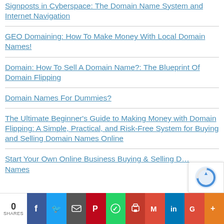Signposts in Cyberspace: The Domain Name System and Internet Navigation
GEO Domaining: How To Make Money With Local Domain Names!
Domain: How To Sell A Domain Name?: The Blueprint Of Domain Flipping
Domain Names For Dummies?
The Ultimate Beginner's Guide to Making Money with Domain Flipping: A Simple, Practical, and Risk-Free System for Buying and Selling Domain Names Online
Start Your Own Online Business Buying & Selling Domain Names